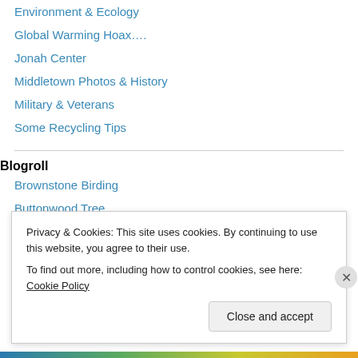Environment & Ecology
Global Warming Hoax….
Jonah Center
Middletown Photos & History
Military & Veterans
Some Recycling Tips
Blogroll
Brownstone Birding
Buttonwood Tree
City of Middletown
Connecticut Museum Quest
Privacy & Cookies: This site uses cookies. By continuing to use this website, you agree to their use.
To find out more, including how to control cookies, see here: Cookie Policy
Close and accept